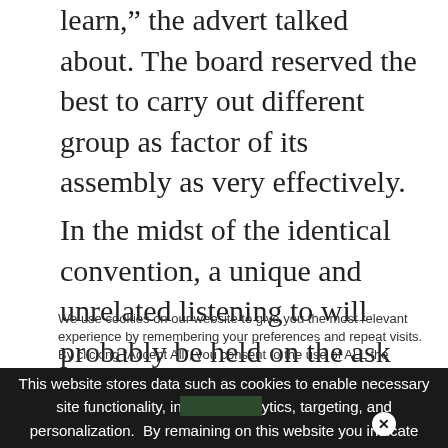learn," the advert talked about. The board reserved the best to carry out different group as factor of its assembly as very effectively.
In the midst of the identical convention, a unique and unrelated listening to will probably be held on the ask for of 542 N. Lewis Freeway LP, 1030 W. Germantown Pike, East Norriton, for variances essential to arrange 3 exterior facade indicators in an
We use cookies on our website to give you the most relevant experience by remembering your preferences and repeat visits. By clicking “Accept All”, you consent to the use of ALL the controlled consent.
This website stores data such as cookies to enable necessary site functionality, including analytics, targeting, and personalization. By remaining on this website you indicate your consent Cookie Policy